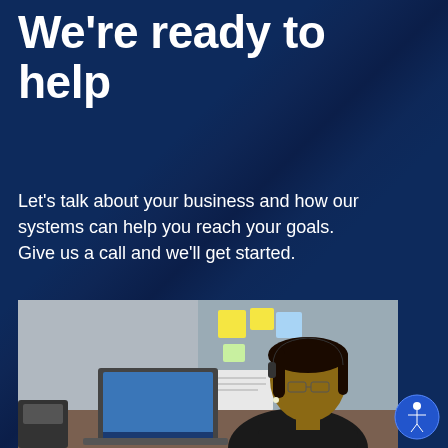We're ready to help
Let's talk about your business and how our systems can help you reach your goals. Give us a call and we'll get started.
SCHEDULE A CALL
[Figure (photo): A woman with braided hair and glasses sitting at a desk in an office cubicle, looking at a laptop screen. There are sticky notes and papers pinned to a cubicle wall in the background, and a desk phone in the foreground.]